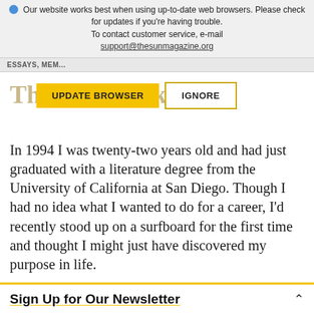Our website works best when using up-to-date web browsers. Please check for updates if you're having trouble. To contact customer service, e-mail support@thesunmagazine.org
ESSAYS, MEM...
The Thin Pink Line
[Figure (screenshot): UPDATE BROWSER and IGNORE buttons overlaid on page title]
In 1994 I was twenty-two years old and had just graduated with a literature degree from the University of California at San Diego. Though I had no idea what I wanted to do for a career, I'd recently stood up on a surfboard for the first time and thought I might just have discovered my purpose in life.
Sign Up for Our Newsletter